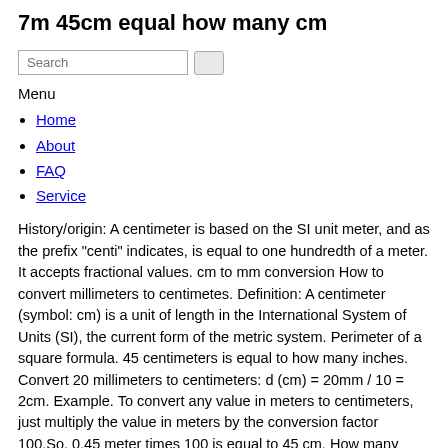7m 45cm equal how many cm
Search
Menu
Home
About
FAQ
Service
History/origin: A centimeter is based on the SI unit meter, and as the prefix "centi" indicates, is equal to one hundredth of a meter. It accepts fractional values. cm to mm conversion How to convert millimeters to centimetes. Definition: A centimeter (symbol: cm) is a unit of length in the International System of Units (SI), the current form of the metric system. Perimeter of a square formula. 45 centimeters is equal to how many inches. Convert 20 millimeters to centimeters: d (cm) = 20mm / 10 = 2cm. Example. To convert any value in meters to centimeters, just multiply the value in meters by the conversion factor 100.So, 0.45 meter times 100 is equal to 45 cm. How many inches in 45 centimeters. ... A centimeter, or centimetre, is a unit of length equal to one hundredth of a meter. One meter equals to the length of the path that a light